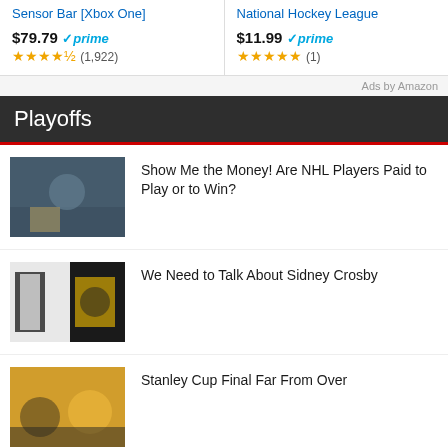Sensor Bar [Xbox One]  $79.79 prime  ★★★★½ (1,922)
National Hockey League  $11.99 prime  ★★★★★ (1)
Ads by Amazon
Playoffs
Show Me the Money! Are NHL Players Paid to Play or to Win?
We Need to Talk About Sidney Crosby
Stanley Cup Final Far From Over